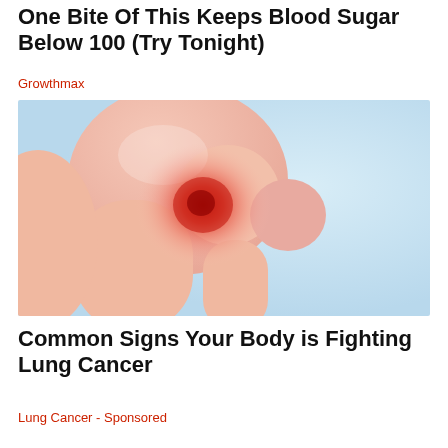One Bite Of This Keeps Blood Sugar Below 100 (Try Tonight)
Growthmax
[Figure (illustration): Medical illustration of a human shoulder joint with a glowing red inflammation spot, shown from the side, with pink/salmon skin tones and light blue background.]
Common Signs Your Body is Fighting Lung Cancer
Lung Cancer - Sponsored